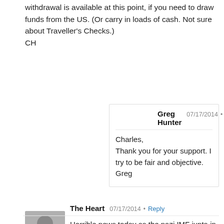withdrawal is available at this point, if you need to draw funds from the US. (Or carry in loads of cash. Not sure about Traveller's Checks.)
CH
Greg Hunter  07/17/2014  Reply
Charles,
Thank you for your support. I try to be fair and objective.
Greg
The Heart  07/17/2014  Reply
Horrible news today as the nazi IMF junta in Kiev continues to goad Russia into entering the Ukraine to establish peace. They will use NATO to defend the Ukraine like a perfect set up to start WW III. Here is the worst war crime to date in the Ukraine with actual footage of what a plane crash site looks like. Ask, why were the 9/11 crash sites